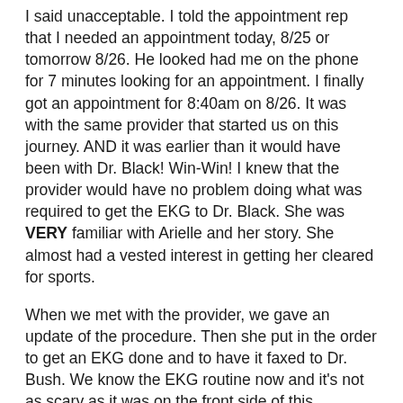I said unacceptable. I told the appointment rep that I needed an appointment today, 8/25 or tomorrow 8/26. He looked had me on the phone for 7 minutes looking for an appointment. I finally got an appointment for 8:40am on 8/26. It was with the same provider that started us on this journey. AND it was earlier than it would have been with Dr. Black! Win-Win!  I knew that the provider would have no problem doing what was required to get the EKG to Dr. Black.  She was VERY familiar with Arielle and her story.  She almost had a vested interest in getting her cleared for sports.
When we met with the provider, we gave an update of the procedure.  Then she put in the order to get an EKG done and to have it faxed to Dr. Bush. We know the EKG routine now and it's not as scary as it was on the front side of this situation. At first we were hoping that nothing was found and we are still hoping that nothing is found, but for a very different reason this time. Finding nothing means...